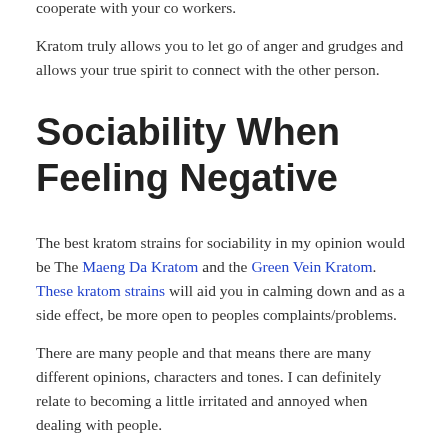Using Kratom for its sociability benefit here would be a great move and would in turn allow you to learn to cooperate with your co workers.
Kratom truly allows you to let go of anger and grudges and allows your true spirit to connect with the other person.
Sociability When Feeling Negative
The best kratom strains for sociability in my opinion would be The Maeng Da Kratom and the Green Vein Kratom. These kratom strains will aid you in calming down and as a side effect, be more open to peoples complaints/problems.
There are many people and that means there are many different opinions, characters and tones. I can definitely relate to becoming a little irritated and annoyed when dealing with people.